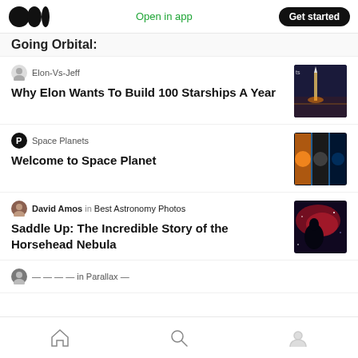Medium logo | Open in app | Get started
Going Orbital:
Elon-Vs-Jeff
Why Elon Wants To Build 100 Starships A Year
Space Planets
Welcome to Space Planet
David Amos in Best Astronomy Photos
Saddle Up: The Incredible Story of the Horsehead Nebula
Home | Search | Profile